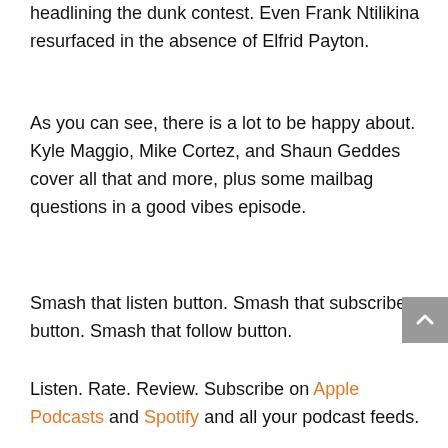headlining the dunk contest. Even Frank Ntilikina resurfaced in the absence of Elfrid Payton.
As you can see, there is a lot to be happy about. Kyle Maggio, Mike Cortez, and Shaun Geddes cover all that and more, plus some mailbag questions in a good vibes episode.
Smash that listen button. Smash that subscribe button. Smash that follow button.
Listen. Rate. Review. Subscribe on Apple Podcasts and Spotify and all your podcast feeds.